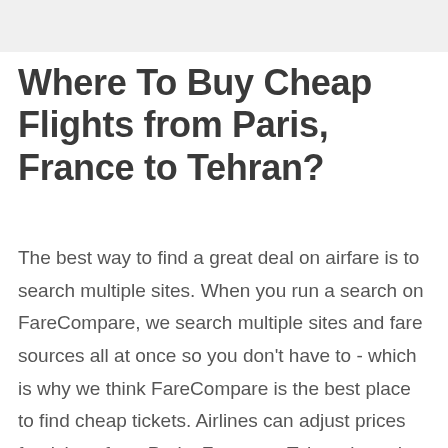Where To Buy Cheap Flights from Paris, France to Tehran?
The best way to find a great deal on airfare is to search multiple sites. When you run a search on FareCompare, we search multiple sites and fare sources all at once so you don't have to - which is why we think FareCompare is the best place to find cheap tickets. Airlines can adjust prices for tickets from Paris, France to Tehran based on the day and time that you decide to book your flight. We have collected data from